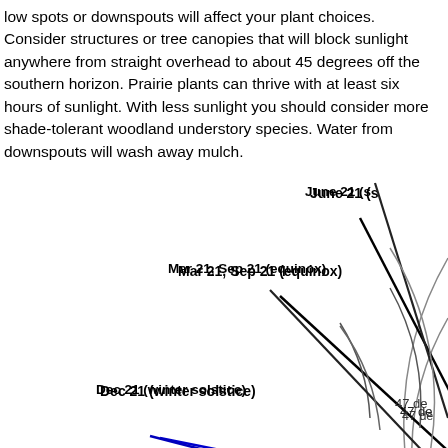low spots or downspouts will affect your plant choices. Consider structures or tree canopies that will block sunlight anywhere from straight overhead to about 45 degrees off the southern horizon. Prairie plants can thrive with at least six hours of sunlight. With less sunlight you should consider more shade-tolerant woodland understory species. Water from downspouts will wash away mulch.
[Figure (engineering-diagram): Solar angle diagram showing sun elevation angles for different dates. Labels: June 21 (partially visible, top right), Mar 21, Sep 21 (equinox) with black line, Dec 21 (winter solstice) with blue line. Arc segments labeled 23.5 deg and 47 deg. The diagram shows arcs and lines representing solar angles from the horizon.]